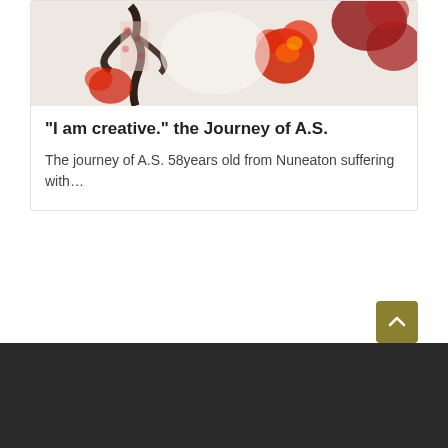[Figure (photo): Abstract artwork with black figure outline and red/orange paint strokes on white background]
"I am creative." the Journey of A.S.
The journey of A.S. 58years old from Nuneaton suffering with…